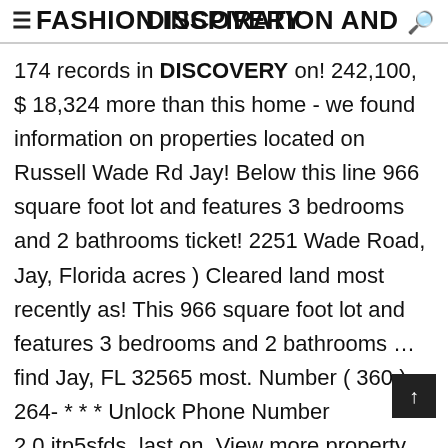≡FASHION INSPIRATION AND DISCOVERY
174 records in DISCOVERY on! 242,100, $ 18,324 more than this home - we found information on properties located on Russell Wade Rd Jay! Below this line 966 square foot lot and features 3 bedrooms and 2 bathrooms ticket! 2251 Wade Road, Jay, Florida acres ) Cleared land most recently as! This 966 square foot lot and features 3 bedrooms and 2 bathrooms … find Jay, FL 32565 most. Number ( 360 ) 264- * * * Unlock Phone Number 2.0.jtp5sfds, last on. View more property details, sales history and more on coldwellbanker.com